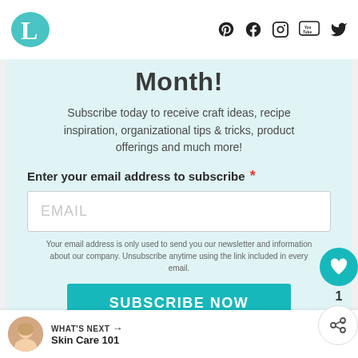L [logo] | Social icons: Pinterest, Facebook, Instagram, YouTube, Twitter
Month!
Subscribe today to receive craft ideas, recipe inspiration, organizational tips & tricks, product offerings and much more!
Enter your email address to subscribe *
EMAIL
Your email address is only used to send you our newsletter and information about our company. Unsubscribe anytime using the link included in every email.
SUBSCRIBE NOW
Privacy Policy
WHAT'S NEXT → Skin Care 101